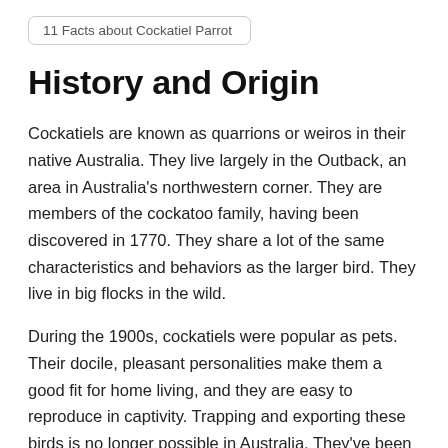11 Facts about Cockatiel Parrot
History and Origin
Cockatiels are known as quarrions or weiros in their native Australia. They live largely in the Outback, an area in Australia's northwestern corner. They are members of the cockatoo family, having been discovered in 1770. They share a lot of the same characteristics and behaviors as the larger bird. They live in big flocks in the wild.
During the 1900s, cockatiels were popular as pets. Their docile, pleasant personalities make them a good fit for home living, and they are easy to reproduce in captivity. Trapping and exporting these birds is no longer possible in Australia. They've been